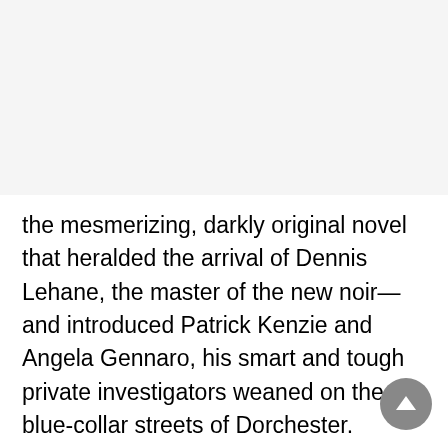the mesmerizing, darkly original novel that heralded the arrival of Dennis Lehane, the master of the new noir—and introduced Patrick Kenzie and Angela Gennaro, his smart and tough private investigators weaned on the blue-collar streets of Dorchester.
A cabal of powerful Boston politicians is willing to pay Kenzie and Gennaro big money for a seemingly small job: to find a missing cleaning woman who stole some secret documents. As Kenzie and Gennaro learn, however, this crime is